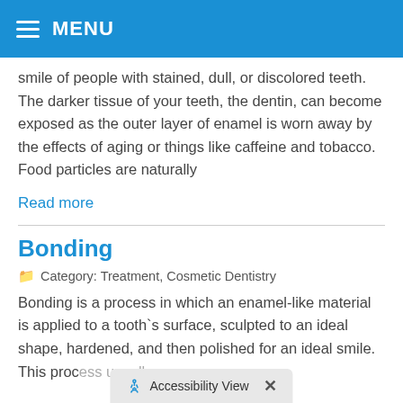MENU
smile of people with stained, dull, or discolored teeth. The darker tissue of your teeth, the dentin, can become exposed as the outer layer of enamel is worn away by the effects of aging or things like caffeine and tobacco. Food particles are naturally
Read more
Bonding
Category: Treatment, Cosmetic Dentistry
Bonding is a process in which an enamel-like material is applied to a tooth`s surface, sculpted to an ideal shape, hardened, and then polished for an ideal smile. This proc...